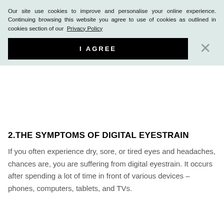Our site use cookies to improve and personalise your online experience. Continuing browsing this website you agree to use of cookies as outlined in cookies section of our Privacy Policy
I AGREE
2.THE SYMPTOMS OF DIGITAL EYESTRAIN
If you often experience dry, sore, or tired eyes and headaches, chances are, you are suffering from digital eyestrain. It occurs after spending a lot of time in front of various devices – phones, computers, tablets, and TVs.